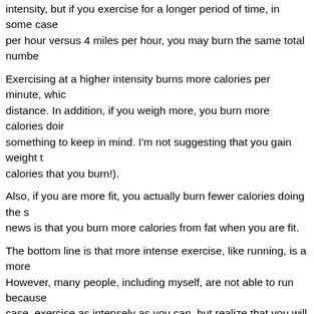intensity, but if you exercise for a longer period of time, in some cases per hour versus 4 miles per hour, you may burn the same total number
Exercising at a higher intensity burns more calories per minute, which distance. In addition, if you weigh more, you burn more calories doing something to keep in mind. I'm not suggesting that you gain weight to calories that you burn!).
Also, if you are more fit, you actually burn fewer calories doing the same news is that you burn more calories from fat when you are fit.
The bottom line is that more intense exercise, like running, is a more However, many people, including myself, are not able to run because case, exercise as intensely as you can, but realize that you will have to of time to burn the same number of calories.
This is why the physical activity recommendations for adults are either aerobic activity (brisk walking) per week or 75 minutes of vigorous activity per week in addition to strength training.
You can also try walking on an incline (or hills) to increase calorie burn walking (interval training), which is great for people just starting a more or looking to improve their overall fitness level.
Have a question for our doctors? Ask it here